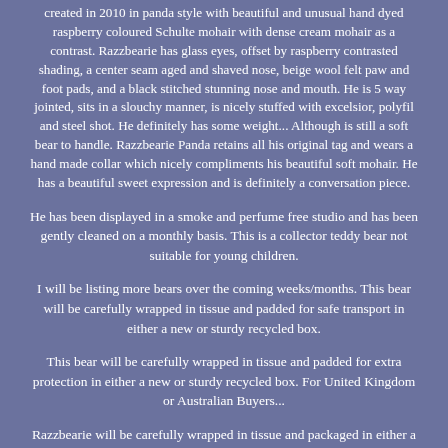created in 2010 in panda style with beautiful and unusual hand dyed raspberry coloured Schulte mohair with dense cream mohair as a contrast. Razzbearie has glass eyes, offset by raspberry contrasted shading, a center seam aged and shaved nose, beige wool felt paw and foot pads, and a black stitched stunning nose and mouth. He is 5 way jointed, sits in a slouchy manner, is nicely stuffed with excelsior, polyfil and steel shot. He definitely has some weight... Although is still a soft bear to handle. Razzbearie Panda retains all his original tag and wears a hand made collar which nicely compliments his beautiful soft mohair. He has a beautiful sweet expression and is definitely a conversation piece.
He has been displayed in a smoke and perfume free studio and has been gently cleaned on a monthly basis. This is a collector teddy bear not suitable for young children.
I will be listing more bears over the coming weeks/months. This bear will be carefully wrapped in tissue and padded for safe transport in either a new or sturdy recycled box.
This bear will be carefully wrapped in tissue and padded for extra protection in either a new or sturdy recycled box. For United Kingdom or Australian Buyers...
Razzbearie will be carefully wrapped in tissue and packaged in either a new box or sturdy recycled box. Please take a moment to view my other Sid Dickens memory blocks and collector teddy bears...